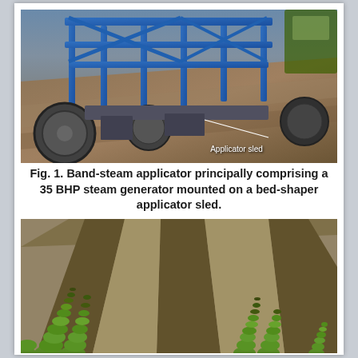[Figure (photo): Photograph of a band-steam applicator machine — a blue metal frame with wheels on tilled soil. A white annotation line points to the 'Applicator sled' label in the lower right of the image.]
Fig. 1. Band-steam applicator principally comprising a 35 BHP steam generator mounted on a bed-shaper applicator sled.
[Figure (photo): Aerial-perspective photograph of rows of leafy green plants (lettuce) growing in dark tilled soil beds, with alternating bare furrows between the planted rows. The rows recede into the distance.]